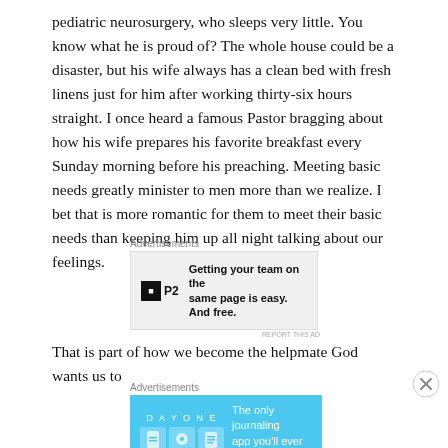pediatric neurosurgery, who sleeps very little. You know what he is proud of? The whole house could be a disaster, but his wife always has a clean bed with fresh linens just for him after working thirty-six hours straight. I once heard a famous Pastor bragging about how his wife prepares his favorite breakfast every Sunday morning before his preaching. Meeting basic needs greatly minister to men more than we realize. I bet that is more romantic for them to meet their basic needs than keeping him up all night talking about our feelings.
[Figure (screenshot): Advertisement banner for P2 project management tool with text: Getting your team on the same page is easy. And free.]
That is part of how we become the helpmate God wants us to
[Figure (screenshot): Advertisement for Day One journaling app with text: The only journaling app you'll ever need.]